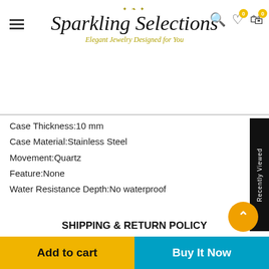Sparkling Selections — Elegant Jewelry Designed for You
Case Thickness:10 mm
Case Material:Stainless Steel
Movement:Quartz
Feature:None
Water Resistance Depth:No waterproof
SHIPPING & RETURN POLICY
Sparkling Selections ("we" and "us") is the operator of (https://sparklingselections.com/). By placing an order through this Website you will be agreeing to the terms below. These are provided to ensure both parties are